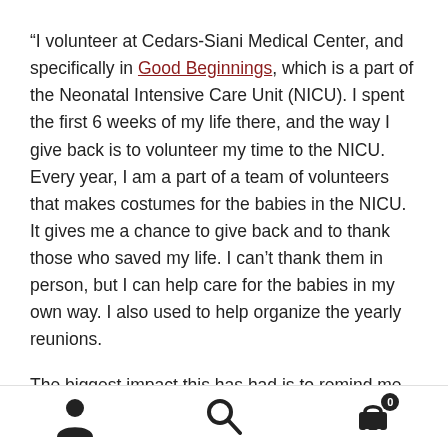“I volunteer at Cedars-Siani Medical Center, and specifically in Good Beginnings, which is a part of the Neonatal Intensive Care Unit (NICU). I spent the first 6 weeks of my life there, and the way I give back is to volunteer my time to the NICU. Every year, I am a part of a team of volunteers that makes costumes for the babies in the NICU. It gives me a chance to give back and to thank those who saved my life. I can’t thank them in person, but I can help care for the babies in my own way. I also used to help organize the yearly reunions.
The biggest impact this has had is to remind me to care for people of all ages. I got my Master’s in Gerontology and learned how to better support older adults, and I work